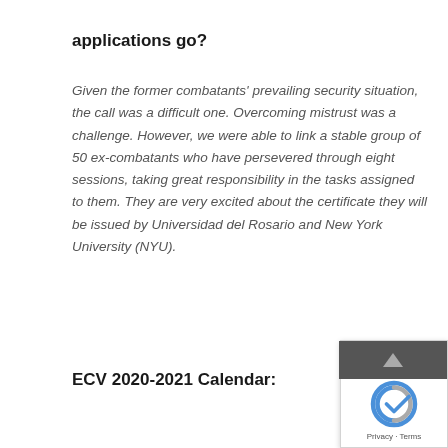applications go?
Given the former combatants' prevailing security situation, the call was a difficult one. Overcoming mistrust was a challenge. However, we were able to link a stable group of 50 ex-combatants who have persevered through eight sessions, taking great responsibility in the tasks assigned to them. They are very excited about the certificate they will be issued by Universidad del Rosario and New York University (NYU).
ECV 2020-2021 Calendar: